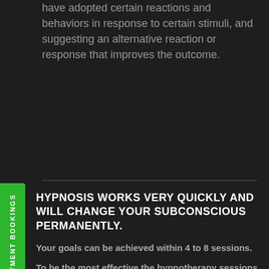have adopted certain reactions and behaviors in response to certain stimuli, and suggesting an alternative reaction or response that improves the outcome.
HYPNOSIS WORKS VERY QUICKLY AND WILL CHANGE YOUR SUBCONSCIOUS PERMANENTLY.
Your goals can be achieved within 4 to 8 sessions.
To be the most effective the hypnotherapy sessions are 4-7 days apart.
Past Life Regression, Concentration & Focus, Flying Without Fear, Motivation For Exercise, Stop Smoking, Freedom From Anorexia, Overcome Social Phobia, Freedom From Bulimia, Boost Energy Levels, Anxiety & Depression, Relief Positive Thinking, Self Pho...